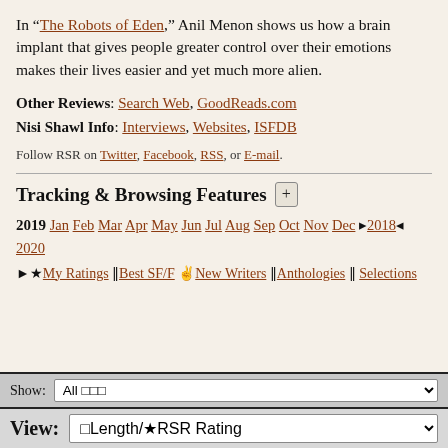In “The Robots of Eden,” Anil Menon shows us how a brain implant that gives people greater control over their emotions makes their lives easier and yet much more alien.
Other Reviews: Search Web, GoodReads.com
Nisi Shawl Info: Interviews, Websites, ISFDB
Follow RSR on Twitter, Facebook, RSS, or E-mail.
Tracking & Browsing Features
2019 Jan Feb Mar Apr May Jun Jul Aug Sep Oct Nov Dec [2018] 2020
►★My Ratings ‖Best SF/F ✌New Writers ‖Anthologies ‖ Selections
Show: All [dropdown]
View: [Length/★RSR Rating dropdown]